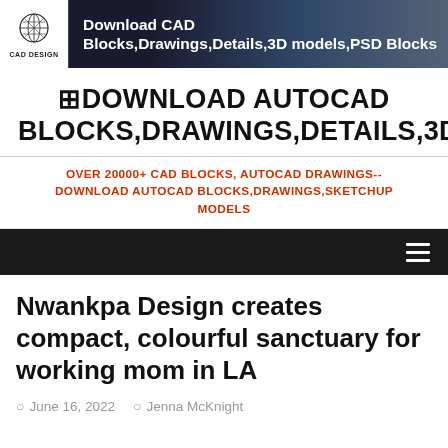Download CAD Blocks,Drawings,Details,3D models,PSD Blocks
⊞DOWNLOAD AUTOCAD BLOCKS,DRAWINGS,DETAILS,3D,PSD⊟
OVER 20000+ CAD BLOCKS, AUTOCAD DRAWINGS-- DOWNLOAD AUTOCAD BLOCKS,DRAWINGS,SKETCHUP MODELS
Nwankpa Design creates compact, colourful sanctuary for working mom in LA
June 16, 2022  Jenna McKnight